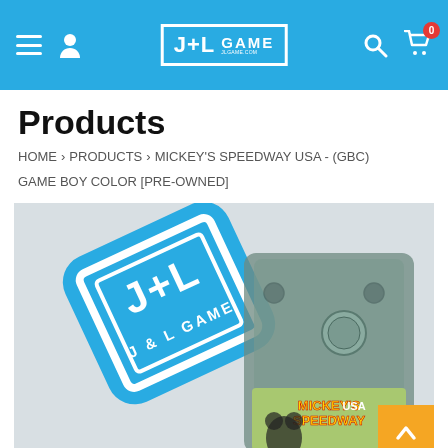J+L GAME
Products
HOME > PRODUCTS > MICKEY'S SPEEDWAY USA - (GBC) GAME BOY COLOR [PRE-OWNED]
[Figure (photo): Product photo of Mickey's Speedway USA Game Boy Color cartridge (pre-owned) with J&L Game sticker logo visible. The cartridge is translucent grey and shows the game label at the bottom with Mickey's Speedway USA branding.]